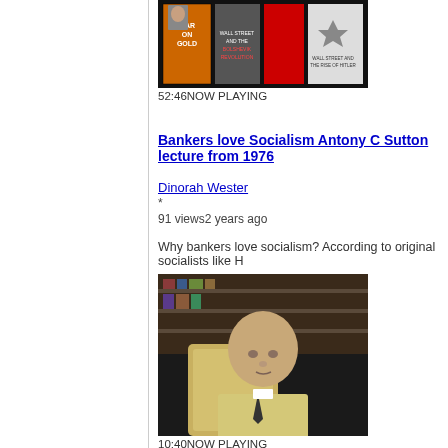[Figure (screenshot): Thumbnail of video showing multiple book covers including 'War on Gold' and 'Wall Street and the Rise of Hitler']
52:46NOW PLAYING
Bankers love Socialism Antony C Sutton lecture from 1976
Dinorah Wester
*
91 views2 years ago
Why bankers love socialism? According to original socialists like H
[Figure (screenshot): Thumbnail showing an elderly bald man in a suit jacket sitting in a chair with bookshelves in background]
10:40NOW PLAYING